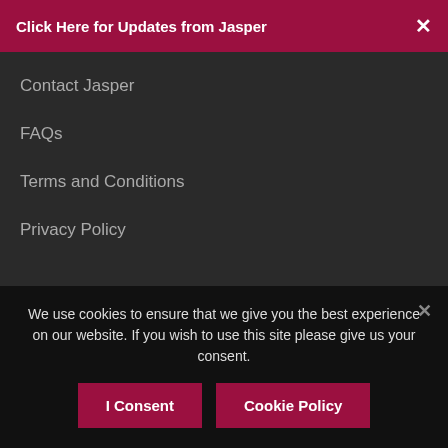Click Here for Updates from Jasper
Contact Jasper
FAQs
Terms and Conditions
Privacy Policy
Join Our Community
We use cookies to ensure that we give you the best experience on our website. If you wish to use this site please give us your consent.
I Consent
Cookie Policy